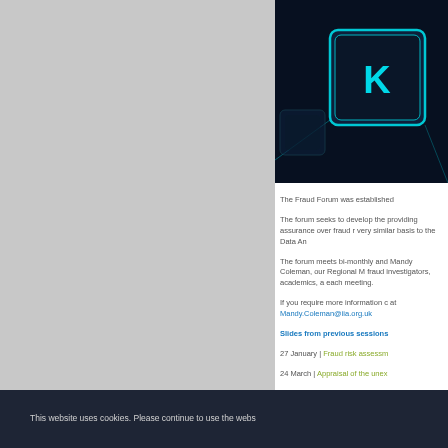[Figure (photo): Close-up photo of a keyboard key with cyan/teal glowing light, showing the letter K on a dark background]
The Fraud Forum was established
The forum seeks to develop the providing assurance over fraud r very similar basis to the Data An
The forum meets bi-monthly and Mandy Coleman, our Regional M fraud investigators, academics, a each meeting.
If you require more information c at Mandy.Coleman@iia.org.uk
Slides from previous sessions
27 January | Fraud risk assessm
24 March | Appraisal of the unex
26 May | Current trends in frau
This website uses cookies. Please continue to use the webs